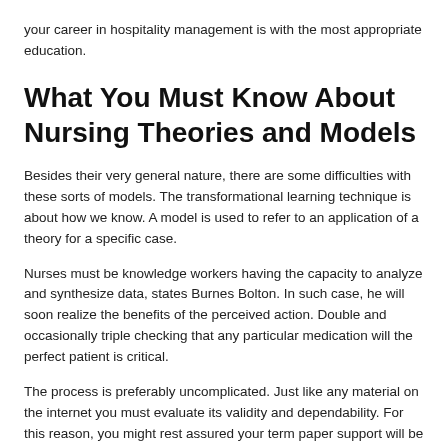your career in hospitality management is with the most appropriate education.
What You Must Know About Nursing Theories and Models
Besides their very general nature, there are some difficulties with these sorts of models. The transformational learning technique is about how we know. A model is used to refer to an application of a theory for a specific case.
Nurses must be knowledge workers having the capacity to analyze and synthesize data, states Burnes Bolton. In such case, he will soon realize the benefits of the perceived action. Double and occasionally triple checking that any particular medication will the perfect patient is critical.
The process is preferably uncomplicated. Just like any material on the internet you must evaluate its validity and dependability. For this reason, you might rest assured your term paper support will be delivered by means of a pro.